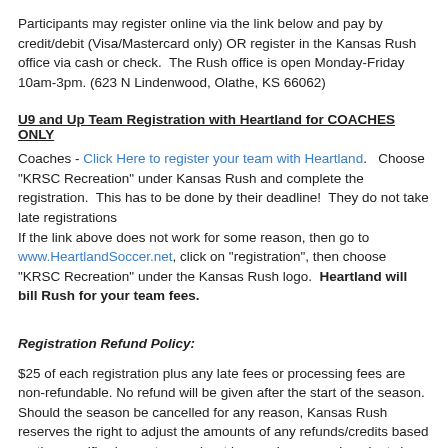Participants may register online via the link below and pay by credit/debit (Visa/Mastercard only) OR register in the Kansas Rush office via cash or check.  The Rush office is open Monday-Friday 10am-3pm. (623 N Lindenwood, Olathe, KS 66062)
U9 and Up Team Registration with Heartland for COACHES ONLY
Coaches - Click Here to register your team with Heartland.   Choose "KRSC Recreation" under Kansas Rush and complete the registration.  This has to be done by their deadline!  They do not take late registrations
If the link above does not work for some reason, then go to www.HeartlandSoccer.net, click on "registration", then choose "KRSC Recreation" under the Kansas Rush logo.  Heartland will bill Rush for your team fees.
Registration Refund Policy:
$25 of each registration plus any late fees or processing fees are non-refundable. No refund will be given after the start of the season.  Should the season be cancelled for any reason, Kansas Rush reserves the right to adjust the amounts of any refunds/credits based on the specific circumstances (cost incurred, games played, etc.).
Process: Parents will be given a refund request form, available by emailing mgreen@kansasrush.com, which must be filled out completely and